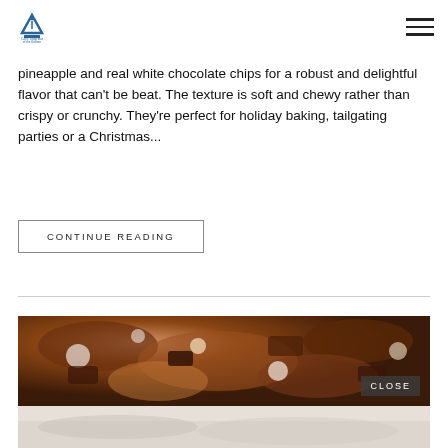Logo and navigation menu
pineapple and real white chocolate chips for a robust and delightful flavor that can't be beat. The texture is soft and chewy rather than crispy or crunchy. They're perfect for holiday baking, tailgating parties or a Christmas...
CONTINUE READING
[Figure (photo): Close-up photo of chocolate chip cookie bars or brownies with nuts and white chocolate, shown in two sections — the top section showing the baked goods and the bottom showing a lighter surface.]